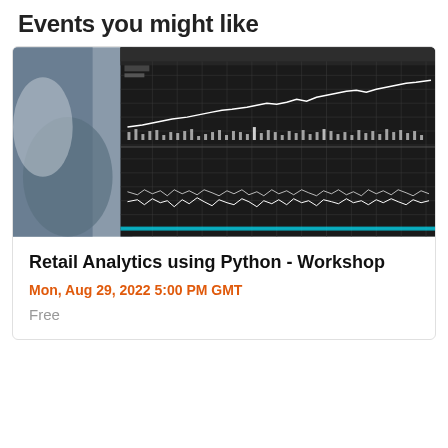Events you might like
[Figure (photo): A computer monitor displaying financial charts and graphs with white lines on a dark/black background, showing multiple time-series data lines on a grid.]
Retail Analytics using Python - Workshop
Mon, Aug 29, 2022 5:00 PM GMT
Free